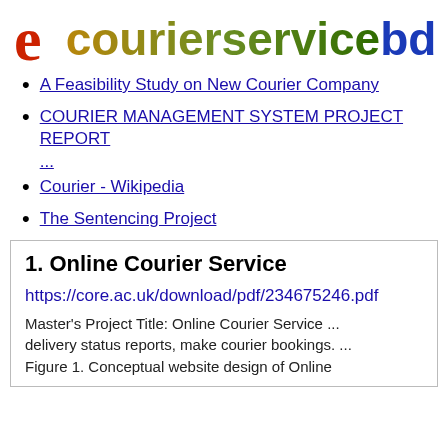[Figure (logo): ecourierservicebd logo with stylized red 'e' icon and multicolor text]
A Feasibility Study on New Courier Company
COURIER MANAGEMENT SYSTEM PROJECT REPORT ...
Courier - Wikipedia
The Sentencing Project
1. Online Courier Service
https://core.ac.uk/download/pdf/234675246.pdf
Master's Project Title: Online Courier Service ... delivery status reports, make courier bookings. ... Figure 1. Conceptual website design of Online